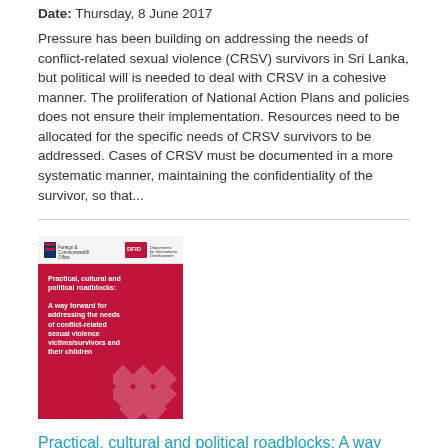Date: Thursday, 8 June 2017
Pressure has been building on addressing the needs of conflict-related sexual violence (CRSV) survivors in Sri Lanka, but political will is needed to deal with CRSV in a cohesive manner. The proliferation of National Action Plans and policies does not ensure their implementation. Resources need to be allocated for the specific needs of CRSV survivors to be addressed. Cases of CRSV must be documented in a more systematic manner, maintaining the confidentiality of the survivor, so that...
[Figure (illustration): Book cover with red background titled 'Practical, cultural and political roadblocks: A way forward for addressing the needs of conflict-related sexual violence victims/survivors and their children']
Practical, cultural and political roadblocks: A way forward for addressing the needs of conflict-related sexual violence victims/survivors and their children
Date: Thursday, 8 June 2017
Sexual violence is a widespread characteristic of conflict and post-conflict environments globally within Asia-Pacific. Recognitio...